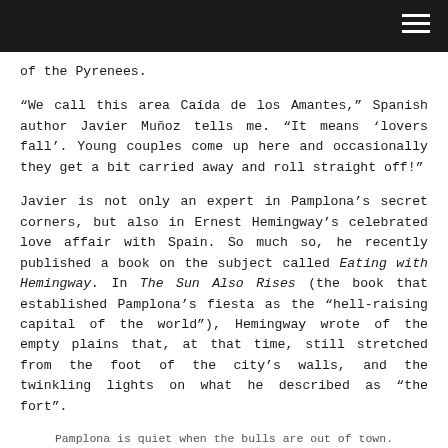of the Pyrenees.
“We call this area Caída de los Amantes,” Spanish author Javier Muñoz tells me. “It means ‘lovers fall’. Young couples come up here and occasionally they get a bit carried away and roll straight off!”
Javier is not only an expert in Pamplona’s secret corners, but also in Ernest Hemingway’s celebrated love affair with Spain. So much so, he recently published a book on the subject called Eating with Hemingway. In The Sun Also Rises (the book that established Pamplona’s fiesta as the “hell-raising capital of the world”), Hemingway wrote of the empty plains that, at that time, still stretched from the foot of the city’s walls, and the twinkling lights on what he described as “the fort”.
Pamplona is quiet when the bulls are out of town.
These days the abandoned fort is almost unknown, even